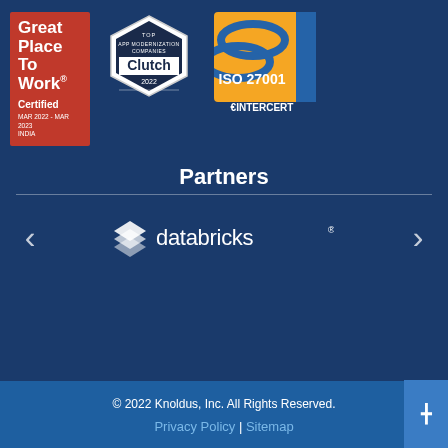[Figure (logo): Great Place to Work Certified badge - red background, white text, MAR 2022 - MAR 2023, INDIA]
[Figure (logo): Clutch Top App Modernization Companies 2022 badge - hexagonal shape, dark center]
[Figure (logo): ISO 27001 Certification badge - yellow/gold background with INTERCERT branding]
Partners
[Figure (logo): Databricks partner logo - white color on dark blue background, with stacked rhombus icon]
© 2022 Knoldus, Inc. All Rights Reserved.
Privacy Policy | Sitemap